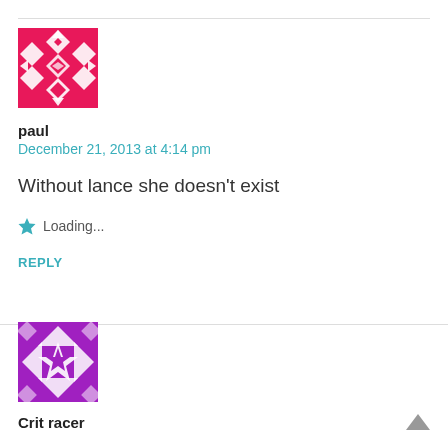[Figure (illustration): Red geometric avatar icon with diamond/cross pattern for user 'paul']
paul
December 21, 2013 at 4:14 pm
Without lance she doesn’t exist
Loading...
REPLY
[Figure (illustration): Purple geometric avatar icon with star/arrow pattern for user 'Crit racer']
Crit racer